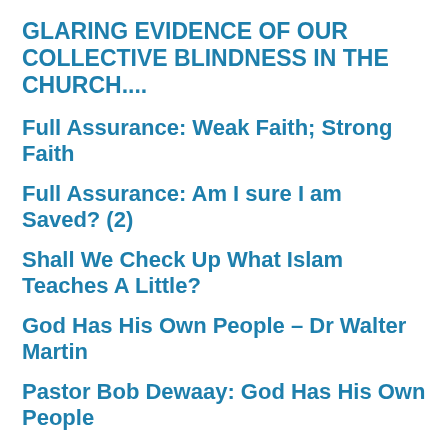GLARING EVIDENCE OF OUR COLLECTIVE BLINDNESS IN THE CHURCH....
Full Assurance: Weak Faith; Strong Faith
Full Assurance: Am I sure I am Saved? (2)
Shall We Check Up What Islam Teaches A Little?
God Has His Own People – Dr Walter Martin
Pastor Bob Dewaay: God Has His Own People